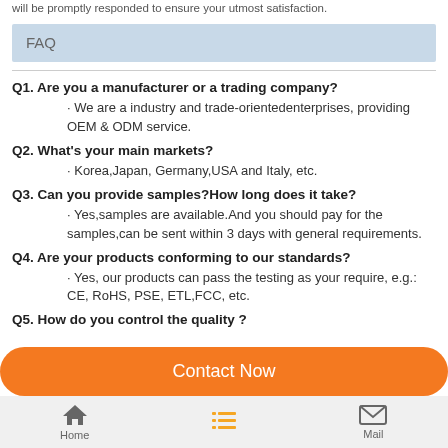will be promptly responded to ensure your utmost satisfaction.
FAQ
Q1. Are you a manufacturer or a trading company?
· We are a industry and trade-orientedenterprises, providing OEM & ODM service.
Q2. What's your main markets?
· Korea,Japan, Germany,USA and Italy, etc.
Q3. Can you provide samples?How long does it take?
· Yes,samples are available.And you should pay for the samples,can be sent within 3 days with general requirements.
Q4. Are your products conforming to our standards?
· Yes, our products can pass the testing as your require, e.g.: CE, RoHS, PSE, ETL,FCC, etc.
Q5. How do you control the quality ?
Contact Now
Home  Mail